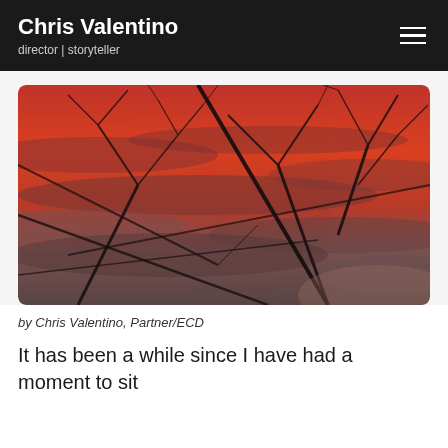Chris Valentino
director | storyteller
[Figure (photo): A dramatic red/orange sunset sky with dark bare tree branches silhouetted against it. The sky is vivid red-orange with streaks of grey clouds.]
by Chris Valentino, Partner/ECD
It has been a while since I have had a moment to sit